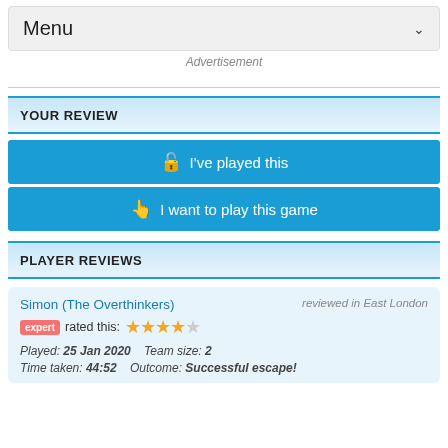Menu
Advertisement
YOUR REVIEW
🔓 I've played this
👆 I want to play this game
PLAYER REVIEWS
Simon (The Overthinkers) reviewed in East London
expert rated this: ★★★★☆
Played: 25 Jan 2020  Team size: 2
Time taken: 44:52  Outcome: Successful escape!